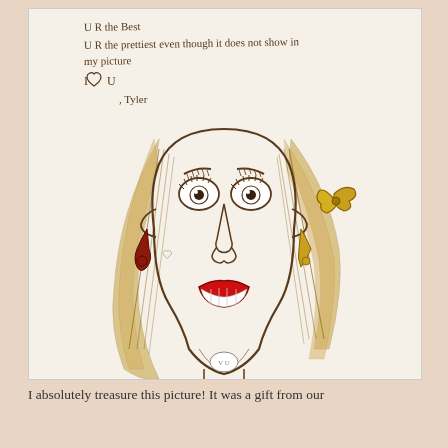[Figure (illustration): A child's hand-drawn portrait of a woman with blonde hair in pigtails, red lips, earrings, and a heart necklace. Handwritten text at top reads: 'U R the Best / U R the prettiest even though it does not show in my picture / I heart U, Tyler']
I absolutely treasure this picture! It was a gift from our